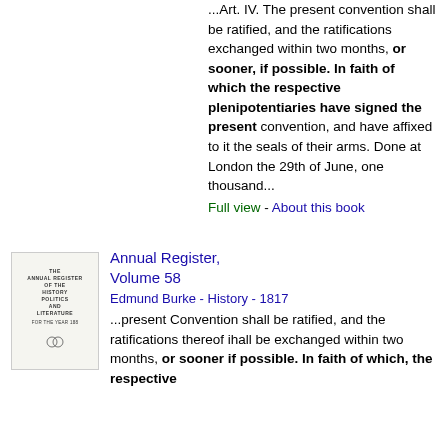...Art. IV. The present convention shall be ratified, and the ratifications exchanged within two months, or sooner, if possible. In faith of which the respective plenipotentiaries have signed the present convention, and have affixed to it the seals of their arms. Done at London the 29th of June, one thousand...
Full view - About this book
[Figure (illustration): Book thumbnail for Annual Register, Volume 58 showing title page with decorative emblem]
Annual Register, Volume 58
Edmund Burke - History - 1817
...present Convention shall be ratified, and the ratifications thereof ihall be exchanged within two months, or sooner if possible. In faith of which, the respective